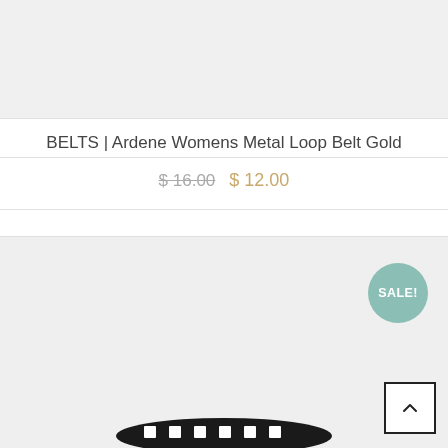[Figure (photo): Top portion of a product image showing a gray/light background, partial product shot]
BELTS | Ardene Womens Metal Loop Belt Gold
$ 16.00  $ 12.00
[Figure (photo): Product listing image area with a SALE! badge in teal/green circle at top right, and a dark metal loop belt visible at the bottom of the frame. A scroll-to-top button (square with caret/arrow) is in the bottom right corner.]